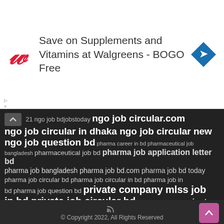[Figure (other): Walgreens advertisement banner: Save on Supplements and Vitamins at Walgreens - BOGO Free, with Walgreens logo and navigation icon]
21 ngo job bdjobstoday ngo job circular.com ngo job circular in dhaka ngo job circular new ngo job question bd pharma career in bd pharmaceutical job bangladesh pharmaceutical job bd pharma job application letter bd pharma job bangladesh pharma job bd.com pharma job bd today pharma job circular bd pharma job circular in bd pharma job in bd pharma job question bd private company mlss job in bd private job circular bd private job news bd private jobs bd privet job bd recent govt job bd 2021 www.company job bd.com
© Copyright 2022, All Rights Reserved